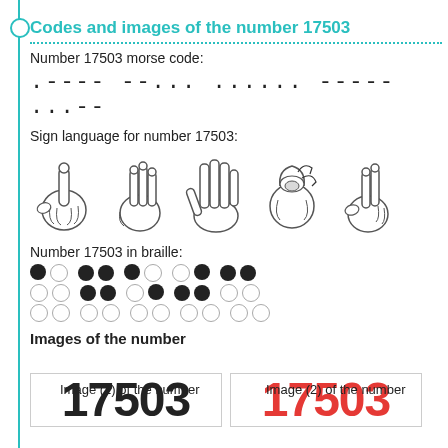Codes and images of the number 17503
Number 17503 morse code:
.---- --... ...... ----- ...--
Sign language for number 17503:
[Figure (illustration): Five hand signs in sign language representing digits 1, 7, 5, 0, 3]
Number 17503 in braille:
[Figure (illustration): Braille dots representing number 17503 in a grid pattern]
Images of the number
Image (1) of the number
Image (2) of the number
[Figure (illustration): Number 17503 displayed in large black bold font]
[Figure (illustration): Number 17503 displayed in large red bold font]